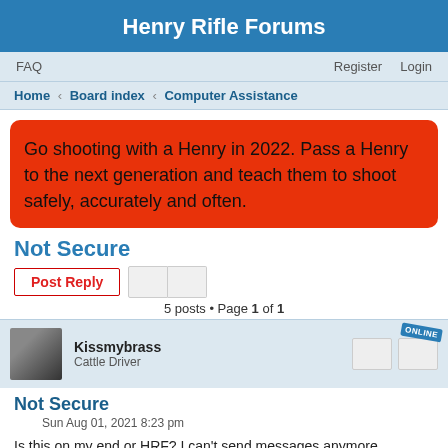Henry Rifle Forums
FAQ   Register   Login
Home › Board index › Computer Assistance
Go shooting with a Henry in 2022. Pass a Henry to the next generation and teach them to shoot safely, accurately and often.
Not Secure
Post Reply
5 posts • Page 1 of 1
Kissmybrass
Cattle Driver
Not Secure
Sun Aug 01, 2021 8:23 pm
Is this on my end or HRF? I can't send messages anymore because of this?